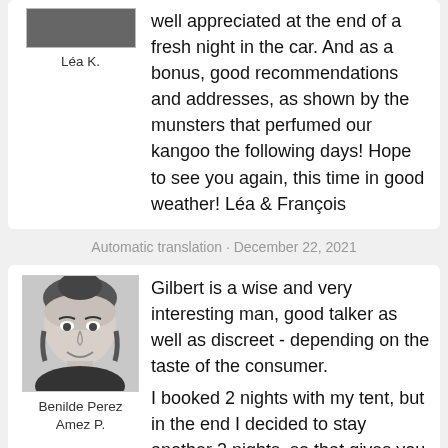well appreciated at the end of a fresh night in the car. And as a bonus, good recommendations and addresses, as shown by the munsters that perfumed our kangoo the following days! Hope to see you again, this time in good weather! Léa & François
Léa K.
Automatic translation · December 22, 2021
[Figure (photo): Profile photo of Benilde Perez Amez P., a woman with dark hair pulled back, smiling, black and white photo]
Benilde Perez Amez P.
Gilbert is a wise and very interesting man, good talker as well as discreet - depending on the taste of the consumer.
I booked 2 nights with my tent, but in the end I decided to stay another 2 nights, so that gives you a good idea of how good my stay was ????. Too